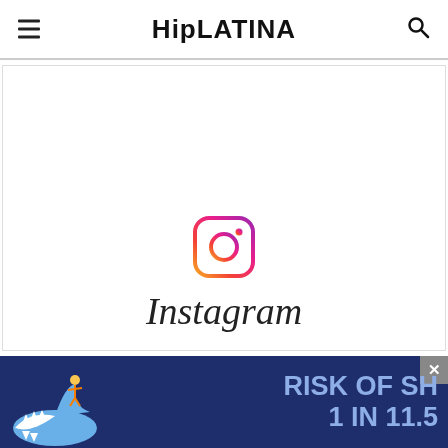HipLATINA
[Figure (screenshot): Instagram embed placeholder showing the Instagram icon and wordmark on a white background]
[Figure (screenshot): Dark blue advertisement banner with shark illustration and text 'RISK OF SH... 1 IN 11.5']